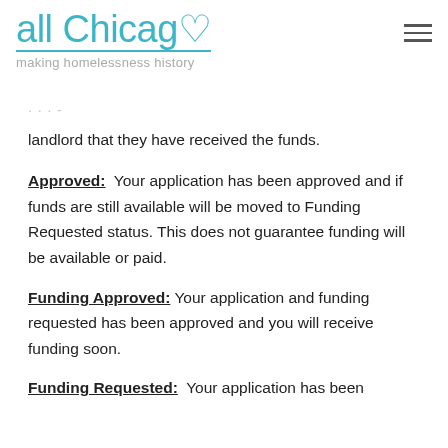[Figure (logo): all Chicago making homelessness history logo with teal text and heart icon]
landlord that they have received the funds.
Approved: Your application has been approved and if funds are still available will be moved to Funding Requested status. This does not guarantee funding will be available or paid.
Funding Approved: Your application and funding requested has been approved and you will receive funding soon.
Funding Requested: Your application has been